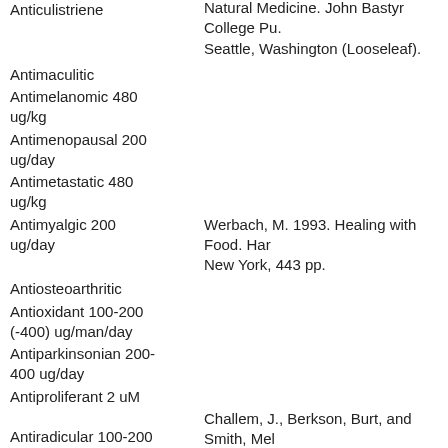Anticulistriene
Natural Medicine. John Bastyr College Pu. Seattle, Washington (Looseleaf).
Antimaculitic
Antimelanomic 480 ug/kg
Antimenopausal 200 ug/day
Antimetastatic 480 ug/kg
Antimyalgic 200 ug/day
Werbach, M. 1993. Healing with Food. HarperCollins, New York, 443 pp.
Antiosteoarthritic
Antioxidant 100-200 (-400) ug/man/day
Antiparkinsonian 200-400 ug/day
Antiproliferant 2 uM
Challem, J., Berkson, Burt, and Smith, Melissa Dianne. 2000. Syndrome X - The complete nutritional program to prevent and reservse insulin resistance. John Wiley & Sons, New York. 272 pp. $24.95
Antiradicular 100-200 (-400) ug/man/day
Antirheumatic
Challem, J., Berkson, Burt, and Smith, Melissa Dianne.